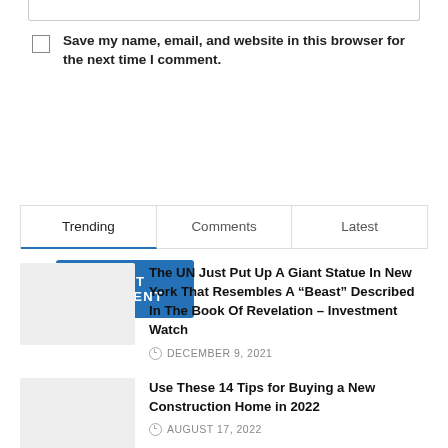Save my name, email, and website in this browser for the next time I comment.
POST COMMENT
Trending | Comments | Latest
The UN Just Put Up A Giant Statue In New York That Resembles A “Beast” Described In The Book Of Revelation – Investment Watch
DECEMBER 9, 2021
Use These 14 Tips for Buying a New Construction Home in 2022
AUGUST 17, 2022
Dow Jones, US Dollar, Gold, RBNZ, FOMC